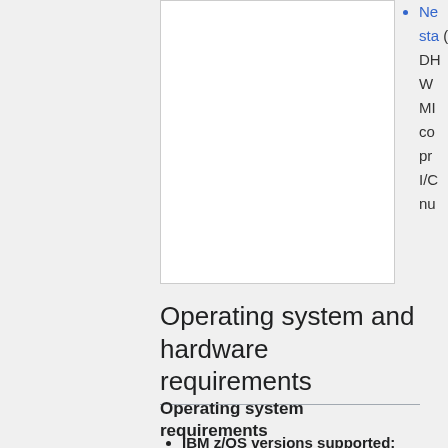Ne... sta... (D... DH... W... MI... co... pr... I/C... nu...
Operating system and hardware requirements
Operating system requirements
IBM z/OS versions supported:
All IBM supported releases
up to and including z/OS 2.3